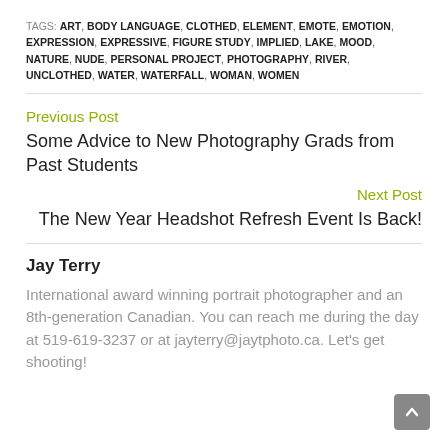TAGS: ART, BODY LANGUAGE, CLOTHED, ELEMENT, EMOTE, EMOTION, EXPRESSION, EXPRESSIVE, FIGURE STUDY, IMPLIED, LAKE, MOOD, NATURE, NUDE, PERSONAL PROJECT, PHOTOGRAPHY, RIVER, UNCLOTHED, WATER, WATERFALL, WOMAN, WOMEN
Previous Post
Some Advice to New Photography Grads from Past Students
Next Post
The New Year Headshot Refresh Event Is Back!
Jay Terry
International award winning portrait photographer and an 8th-generation Canadian. You can reach me during the day at 519-619-3237 or at jayterry@jaytphoto.ca. Let's get shooting!